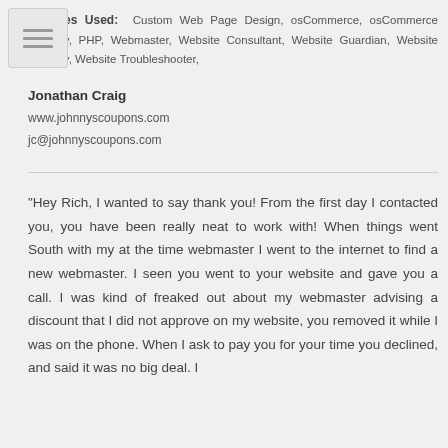Services Used: Custom Web Page Design, osCommerce, osCommerce Security, PHP, Webmaster, Website Consultant, Website Guardian, Website Security, Website Troubleshooter,
Jonathan Craig
www.johnnyscoupons.com
jc@johnnyscoupons.com
"Hey Rich, I wanted to say thank you! From the first day I contacted you, you have been really neat to work with! When things went South with my at the time webmaster I went to the internet to find a new webmaster. I seen you went to your website and gave you a call. I was kind of freaked out about my webmaster advising a discount that I did not approve on my website, you removed it while I was on the phone. When I ask to pay you for your time you declined, and said it was no big deal. I